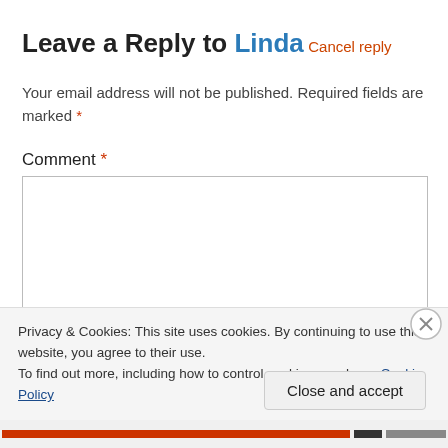Leave a Reply to Linda
Cancel reply
Your email address will not be published. Required fields are marked *
Comment *
Privacy & Cookies: This site uses cookies. By continuing to use this website, you agree to their use.
To find out more, including how to control cookies, see here: Cookie Policy
Close and accept